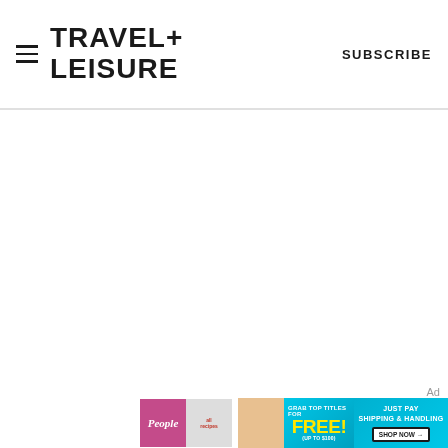TRAVEL+ LEISURE  |  SUBSCRIBE
[Figure (screenshot): White content area below header, mostly blank page body]
Ad
[Figure (infographic): Advertisement banner: People and allrecipes magazine covers on left, teal background with 'GRAB TOP TITLES FOR FREE! (UP TO $100)' in yellow text in center, right side reads 'JUST PAY SHIPPING & HANDLING' with a 'Shop Now →' button in a white box with black border]